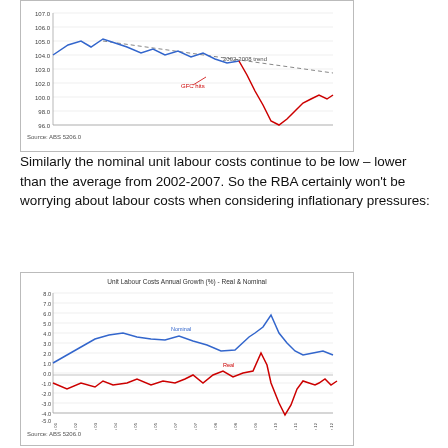[Figure (continuous-plot): Line chart showing two series: a blue line (pre-GFC) and a red line (post-GFC hits), with a dashed 2002-2008 trend line declining from upper-left to lower-right. The chart shows values from approximately Jun 2001 to Jun 2012, with y-axis ranging from about 94 to 107.]
Similarly the nominal unit labour costs continue to be low – lower than the average from 2002-2007. So the RBA certainly won't be worrying about labour costs when considering inflationary pressures:
[Figure (continuous-plot): Line chart with two series: blue line labeled 'Nominal' and red line labeled 'Real'. Y-axis ranges from -5.0 to 8.0. X-axis spans from approximately Jun 2001 to Jun 2012. The Nominal series fluctuates mostly between 1 and 6, rising sharply around 2010. The Real series fluctuates more, dipping to about -4.5 around Jun 2009 and rising to about 2.5 around Jun 2008.]